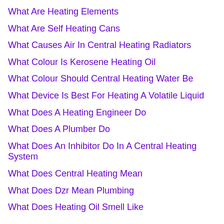What Are Heating Elements
What Are Self Heating Cans
What Causes Air In Central Heating Radiators
What Colour Is Kerosene Heating Oil
What Colour Should Central Heating Water Be
What Device Is Best For Heating A Volatile Liquid
What Does A Heating Engineer Do
What Does A Plumber Do
What Does An Inhibitor Do In A Central Heating System
What Does Central Heating Mean
What Does Dzr Mean Plumbing
What Does Heating Oil Smell Like